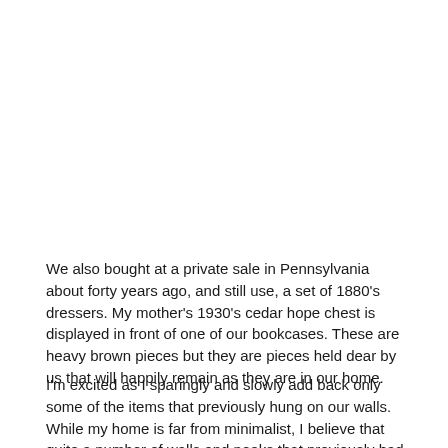We also bought at a private sale in Pennsylvania about forty years ago, and still use, a set of 1880's dressers.   My mother's 1930's cedar hope chest is displayed in front of one of our bookcases.    These are heavy brown pieces but they are  pieces held dear by us that will happily remain as they are in our home.
I'm excited as I sparingly and slowly add back only some of the items that previously hung on our walls. While my home is far from minimalist, I believe that quite a number of walls and nooks that previously had some